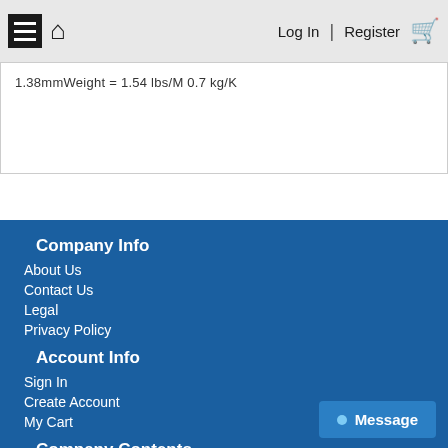Log In | Register
1.38mmWeight = 1.54 lbs/M 0.7 kg/K
Company Info
About Us
Contact Us
Legal
Privacy Policy
Account Info
Sign In
Create Account
My Cart
Company Contents